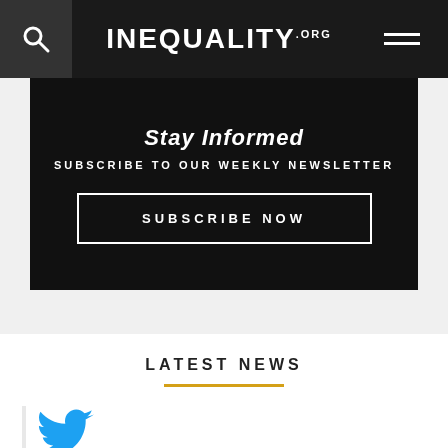INEQUALITY.ORG
Stay Informed
SUBSCRIBE TO OUR WEEKLY NEWSLETTER
SUBSCRIBE NOW
LATEST NEWS
[Figure (logo): Twitter bird logo icon in blue]